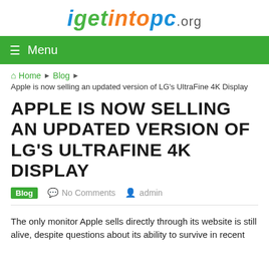igetintopc.org
Menu
Home › Blog › Apple is now selling an updated version of LG's UltraFine 4K Display
APPLE IS NOW SELLING AN UPDATED VERSION OF LG'S ULTRAFINE 4K DISPLAY
Blog  No Comments  admin
The only monitor Apple sells directly through its website is still alive, despite questions about its ability to survive in recent